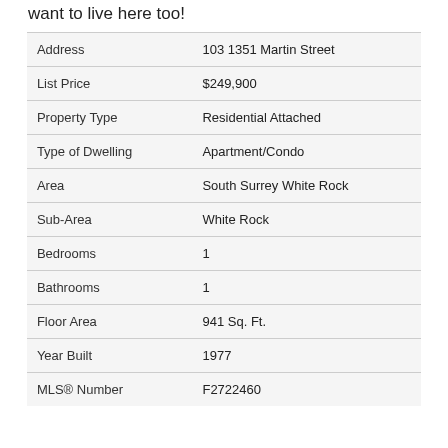want to live here too!
| Field | Value |
| --- | --- |
| Address | 103 1351 Martin Street |
| List Price | $249,900 |
| Property Type | Residential Attached |
| Type of Dwelling | Apartment/Condo |
| Area | South Surrey White Rock |
| Sub-Area | White Rock |
| Bedrooms | 1 |
| Bathrooms | 1 |
| Floor Area | 941 Sq. Ft. |
| Year Built | 1977 |
| MLS® Number | F2722460 |